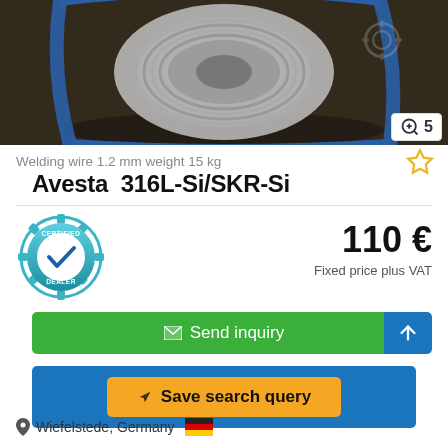[Figure (photo): A spool of welding wire on a blue frame holder, photographed on a wooden surface. A gear/settings icon watermark is visible in the upper right.]
Welding wire 1.2 mm weight 15 kg
Avesta  316L-Si/SKR-Si
[Figure (logo): Certified Dealer badge — teal gear shape with a checkmark and text CERTIFIED DEALER]
110 €
Fixed price plus VAT
Send inquiry
Save search query
Wiefelstede, Germany